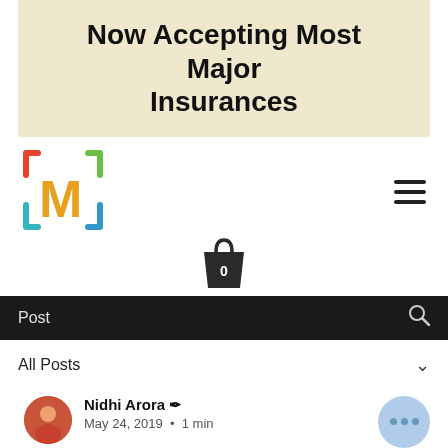Now Accepting Most Major Insurances
[Figure (logo): Colorful M logo with bracket corners in red, green, teal, and blue]
Post
All Posts
Nidhi Arora  •  May 24, 2019  •  1 min
Nidhi Ka... Ki...